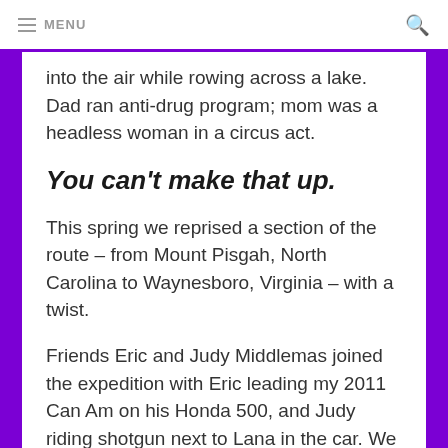MENU
into the air while rowing across a lake. Dad ran anti-drug program; mom was a headless woman in a circus act.
You can't make that up.
This spring we reprised a section of the route – from Mount Pisgah, North Carolina to Waynesboro, Virginia – with a twist.
Friends Eric and Judy Middlemas joined the expedition with Eric leading my 2011 Can Am on his Honda 500, and Judy riding shotgun next to Lana in the car. We helped each other carry bags into hotels each night, and enjoyed meals together.